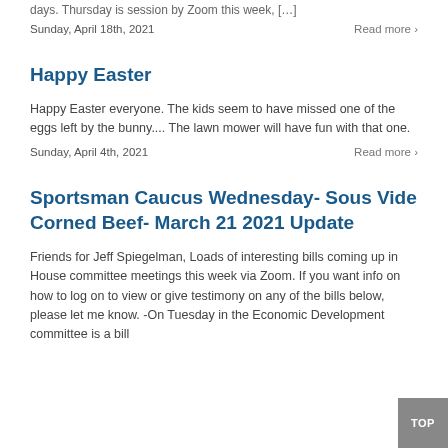days.  Thursday is session by Zoom this week, […]
Sunday, April 18th, 2021	Read more ›
Happy Easter
Happy Easter everyone. The kids seem to have missed one of the eggs left by the bunny.... The lawn mower will have fun with that one.
Sunday, April 4th, 2021	Read more ›
Sportsman Caucus Wednesday- Sous Vide Corned Beef- March 21 2021 Update
Friends for Jeff Spiegelman, Loads of interesting bills coming up in House committee meetings this week via Zoom.  If you want info on how to log on to view or give testimony on any of the bills below, please let me know. -On Tuesday in the Economic Development committee is a bill